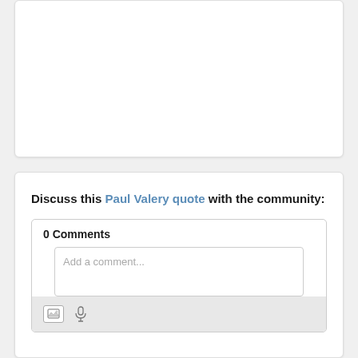[Figure (screenshot): Top white card area, mostly empty white space with rounded corners and light border, part of a webpage UI]
Discuss this Paul Valery quote with the community:
0 Comments
[Figure (screenshot): Comment input box with placeholder text 'Add a comment...' and a toolbar below with image and microphone icons on a light gray background]